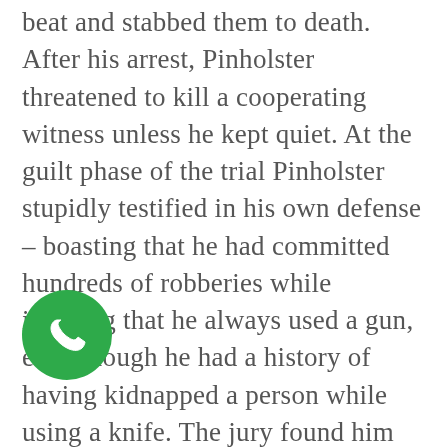beat and stabbed them to death. After his arrest, Pinholster threatened to kill a cooperating witness unless he kept quiet. At the guilt phase of the trial Pinholster stupidly testified in his own defense – boasting that he had committed hundreds of robberies while insisting that he always used a gun, even though he had a history of having kidnapped a person while using a knife. The jury found him guilty of two counts of first-degree murder, triggering the penalty phase of the trial. Shortly before the penalty phase started, the defense moved to exclude any aggravating evidence on the ground that the prosecution had not provided notice to use such evidence as required under California law. The motion was denied, on the basis that Pinholster had...